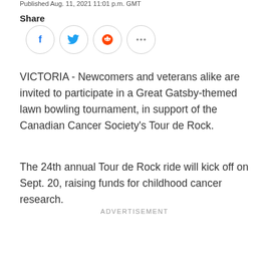Published Aug. 11, 2021 11:01 p.m. GMT
Share
[Figure (other): Social share icons: Facebook (blue), Twitter (blue bird), Reddit (orange alien), More options (ellipsis)]
VICTORIA - Newcomers and veterans alike are invited to participate in a Great Gatsby-themed lawn bowling tournament, in support of the Canadian Cancer Society's Tour de Rock.
The 24th annual Tour de Rock ride will kick off on Sept. 20, raising funds for childhood cancer research.
ADVERTISEMENT